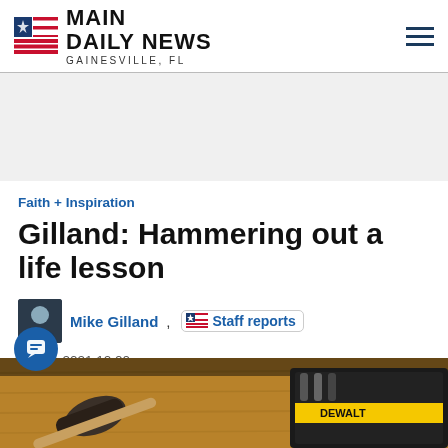MAIN DAILY NEWS GAINESVILLE, FL
[Figure (other): Advertisement / empty gray placeholder area]
Faith + Inspiration
Gilland: Hammering out a life lesson
Mike Gilland, Staff reports
Jul 11, 2021 10:00 am
[Figure (photo): Photo of hammers and tools on a wooden surface]